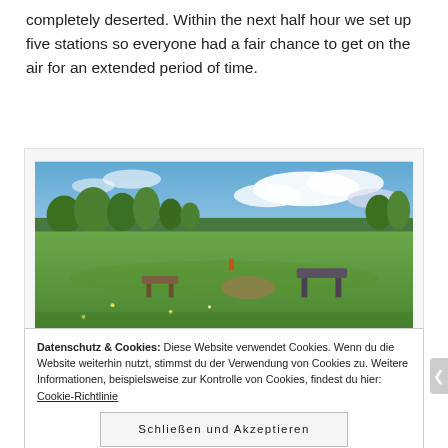completely deserted. Within the next half hour we set up five stations so everyone had a fair chance to get on the air for an extended period of time.
[Figure (photo): Panoramic photo of the summit DM/BW-089 — a wide green meadow under a partly cloudy blue sky with trees along the horizon and some equipment/seats visible in the field.]
Panoramic view of the summit DM/BW-089. Please click on the photo to enlarge.
Datenschutz & Cookies: Diese Website verwendet Cookies. Wenn du die Website weiterhin nutzt, stimmst du der Verwendung von Cookies zu. Weitere Informationen, beispielsweise zur Kontrolle von Cookies, findest du hier: Cookie-Richtlinie
Schließen und Akzeptieren